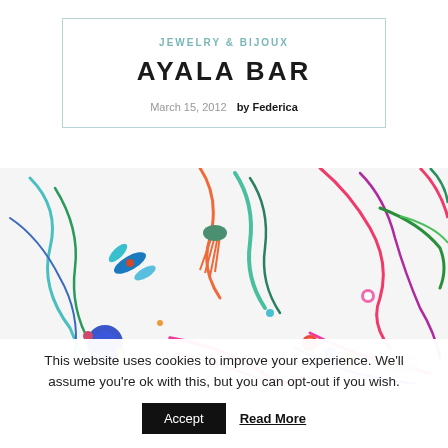JEWELRY & BIJOUX
AYALA BAR
March 15, 2012   by Federica
[Figure (photo): Colorful beaded and textile jewelry pieces with ribbons and decorative elements on white background, with Ayala Bar brand logo overlay]
This website uses cookies to improve your experience. We'll assume you're ok with this, but you can opt-out if you wish.
Accept   Read More